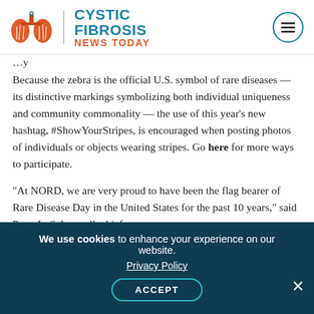[Figure (logo): Cystic Fibrosis News Today logo with red lung illustration and teal/orange text]
Because the zebra is the official U.S. symbol of rare diseases — its distinctive markings symbolizing both individual uniqueness and community commonality — the use of this year's new hashtag, #ShowYourStripes, is encouraged when posting photos of individuals or objects wearing stripes. Go here for more ways to participate.
"At NORD, we are very proud to have been the flag bearer of Rare Disease Day in the United States for the past 10 years," said Peter L. Saltonstall, chief
We use cookies to enhance your experience on our website. Privacy Policy ACCEPT